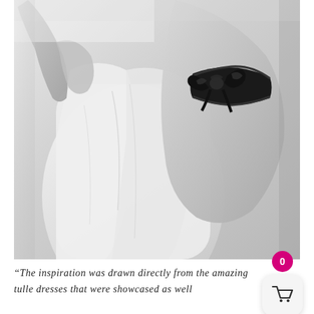[Figure (photo): Black and white photograph of a person in a white dress or garment, with a black satin bow/garter visible on their thigh/leg. The image is cropped to show the torso and legs area.]
“The inspiration was drawn directly from the amazing tulle dresses that were showcased as well